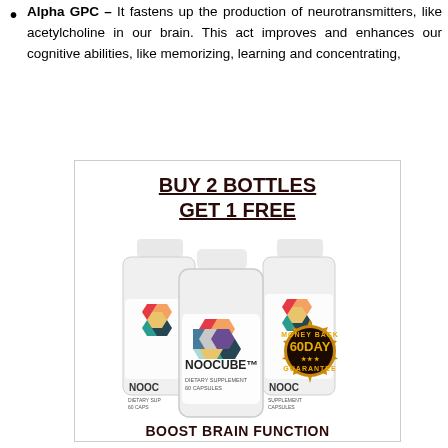Alpha GPC – It fastens up the production of neurotransmitters, like acetylcholine in our brain. This act improves and enhances our cognitive abilities, like memorizing, learning and concentrating,
[Figure (illustration): Advertisement box showing three NooCube supplement bottles with a gold 60-Day Money Back Guarantee seal. Text reads BUY 2 BOTTLES GET 1 FREE above the bottles and BOOST BRAIN FUNCTION below.]